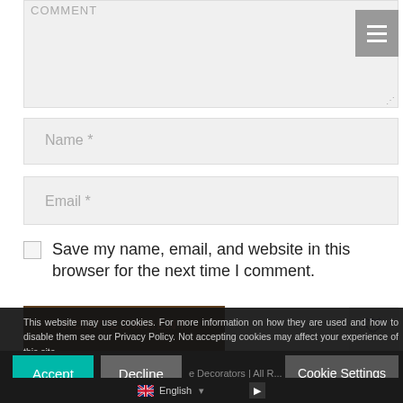COMMENT
Name *
Email *
Save my name, email, and website in this browser for the next time I comment.
POST COMMENT
This website may use cookies. For more information on how they are used and how to disable them see our Privacy Policy. Not accepting cookies may affect your experience of this site.
Accept
Decline
Decorators | All R...
Cookie Settings
English